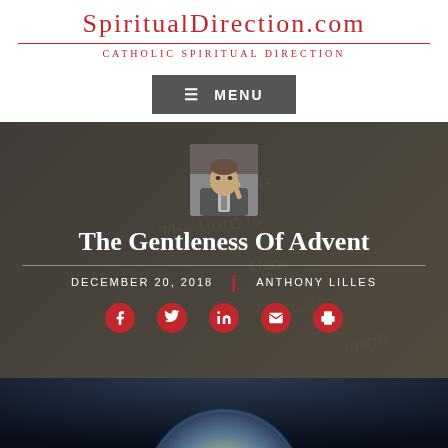SpiritualDirection.com
Catholic Spiritual Direction
[Figure (screenshot): Menu navigation button with hamburger icon and MENU text on dark grey background]
[Figure (photo): Grayscale author photo of Anthony Lilles, a man in a suit pointing upward, set against dark blurred background with bible pages]
The Gentleness Of Advent
DECEMBER 20, 2018   ANTHONY LILLES
[Figure (infographic): Social sharing icons: Facebook, Twitter, LinkedIn, Email, Print — each in a red circle]
[Figure (photo): Bottom strip showing a globe/Earth image against dark blue-grey background]